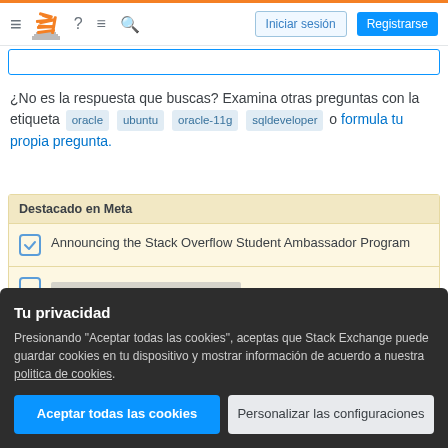Stack Overflow navigation bar with hamburger menu, logo, help, chat, search icons, Iniciar sesión and Registrarse buttons
¿No es la respuesta que buscas? Examina otras preguntas con la etiqueta oracle ubuntu oracle-11g sqldeveloper o formula tu propia pregunta.
Destacado en Meta
Announcing the Stack Overflow Student Ambassador Program
Tu privacidad
Presionando "Aceptar todas las cookies", aceptas que Stack Exchange puede guardar cookies en tu dispositivo y mostrar información de acuerdo a nuestra politica de cookies.
Aceptar todas las cookies
Personalizar las configuraciones